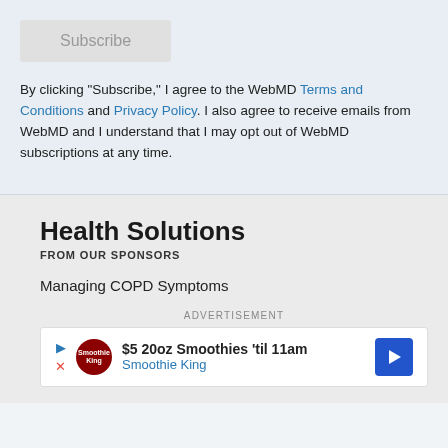[Figure (other): Subscribe button — grey rounded rectangle with text 'Subscribe']
By clicking "Subscribe," I agree to the WebMD Terms and Conditions and Privacy Policy. I also agree to receive emails from WebMD and I understand that I may opt out of WebMD subscriptions at any time.
Health Solutions FROM OUR SPONSORS
Managing COPD Symptoms
ADVERTISEMENT
[Figure (other): Advertisement banner: Smoothie King ad — '$5 20oz Smoothies 'til 11am' with Smoothie King logo and blue directional arrow icon]